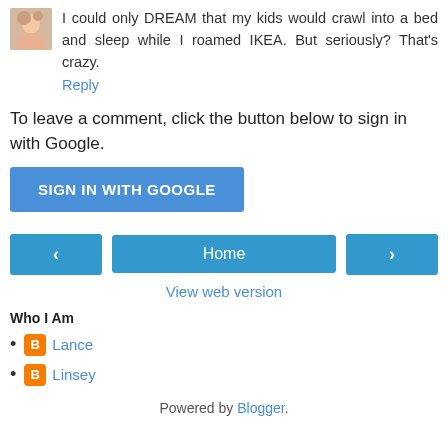I could only DREAM that my kids would crawl into a bed and sleep while I roamed IKEA. But seriously? That's crazy.
Reply
To leave a comment, click the button below to sign in with Google.
SIGN IN WITH GOOGLE
< Home >
View web version
Who I Am
Lance
Linsey
Powered by Blogger.